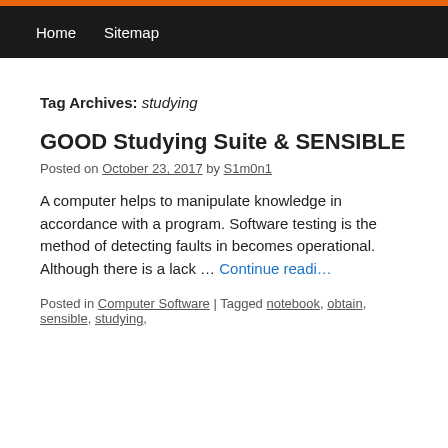Home   Sitemap
Tag Archives: studying
GOOD Studying Suite & SENSIBLE Noteb…
Posted on October 23, 2017 by S1m0n1
A computer helps to manipulate knowledge in accordance with a program. Software testing is the method of detecting faults in becomes operational. Although there is a lack … Continue reading
Posted in Computer Software | Tagged notebook, obtain, sensible, studying,